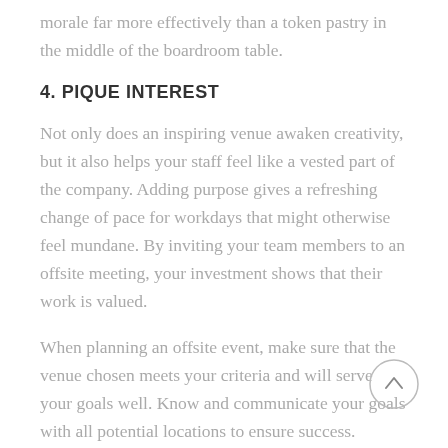morale far more effectively than a token pastry in the middle of the boardroom table.
4. PIQUE INTEREST
Not only does an inspiring venue awaken creativity, but it also helps your staff feel like a vested part of the company. Adding purpose gives a refreshing change of pace for workdays that might otherwise feel mundane. By inviting your team members to an offsite meeting, your investment shows that their work is valued.
When planning an offsite event, make sure that the venue chosen meets your criteria and will serve your goals well. Know and communicate your goals with all potential locations to ensure success.